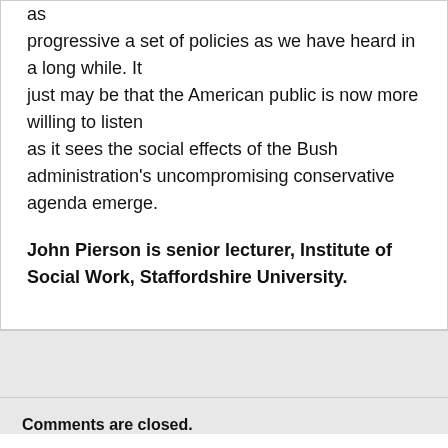as progressive a set of policies as we have heard in a long while. It just may be that the American public is now more willing to listen as it sees the social effects of the Bush administration's uncompromising conservative agenda emerge.
John Pierson is senior lecturer, Institute of Social Work, Staffordshire University.
Comments are closed.